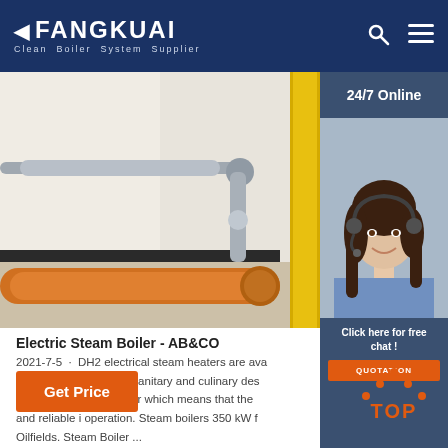FANGKUAI Clean Boiler System Supplier
[Figure (photo): Industrial boiler piping system showing metallic pipes and an orange large-diameter pipe with flanges in a facility]
[Figure (photo): 24/7 Online customer service representative - woman with headset smiling, with 'Click here for free chat!' text and QUOTATION button]
Electric Steam Boiler - AB&CO
2021-7-5 · DH2 electrical steam heaters are ava... Steam generators, i.e. sanitary and culinary des... also a 'heavy duty' boiler which means that the ... and reliable i operation. Steam boilers 350 kW f... Oilfields. Steam Boiler ...
Get Price
TOP